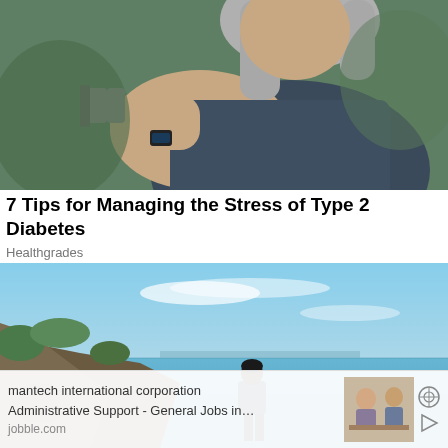[Figure (photo): A heavyset person with long gray hair exercising with a dumbbell, wearing a dark blue t-shirt, outdoors with green foliage in background.]
7 Tips for Managing the Stress of Type 2 Diabetes
Healthgrades
[Figure (photo): A person standing on a rocky cliff overlooking a vast blue sea and sky, viewed from behind.]
mantech international corporation
Administrative Support - General Jobs in…
jobble.com